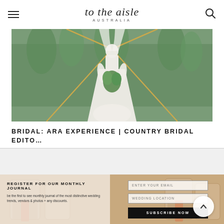to the aisle AUSTRALIA
[Figure (photo): Bride in white lace gown holding a greenery bouquet, standing in front of a geometric golden hexagonal arch frame, outdoors among eucalyptus trees]
BRIDAL: ARA EXPERIENCE | COUNTRY BRIDAL EDITO...
[Figure (photo): Bottom section showing wedding chairs with acrylic signage in warm tones, with a newsletter registration panel overlay]
REGISTER FOR OUR MONTHLY JOURNAL
be the first to see monthly journal of the most distinctive wedding trends, vendors & photos + any discounts.
ENTER YOUR EMAIL
WEDDING LOCATION
SUBSCRIBE NOW